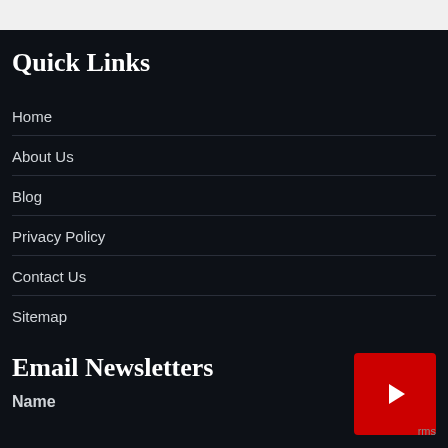Quick Links
Home
About Us
Blog
Privacy Policy
Contact Us
Sitemap
Email Newsletters
Name